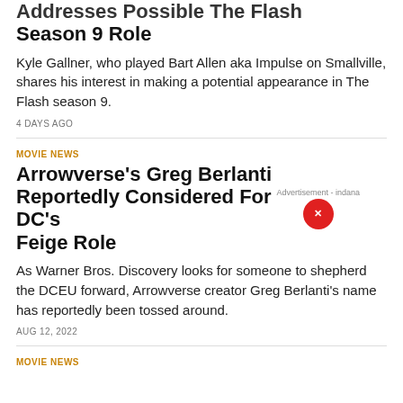Addresses Possible The Flash Season 9 Role
Kyle Gallner, who played Bart Allen aka Impulse on Smallville, shares his interest in making a potential appearance in The Flash season 9.
4 DAYS AGO
MOVIE NEWS
Arrowverse's Greg Berlanti Reportedly Considered For DC's Feige Role
As Warner Bros. Discovery looks for someone to shepherd the DCEU forward, Arrowverse creator Greg Berlanti's name has reportedly been tossed around.
AUG 12, 2022
MOVIE NEWS